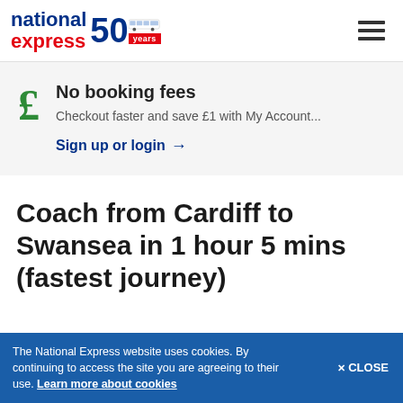[Figure (logo): National Express 50 years logo with coach icon]
No booking fees
Checkout faster and save £1 with My Account...
Sign up or login →
Coach from Cardiff to Swansea in 1 hour 5 mins (fastest journey)
The National Express website uses cookies. By continuing to access the site you are agreeing to their use. Learn more about cookies